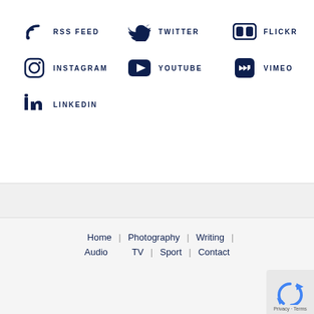RSS FEED
TWITTER
FLICKR
INSTAGRAM
YOUTUBE
VIMEO
LINKEDIN
Home | Photography | Writing | Audio | TV | Sport | Contact